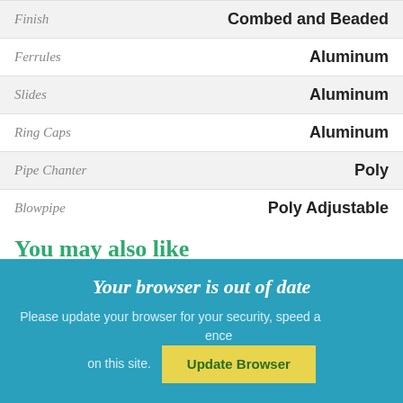| Property | Value |
| --- | --- |
| Finish | Combed and Beaded |
| Ferrules | Aluminum |
| Slides | Aluminum |
| Ring Caps | Aluminum |
| Pipe Chanter | Poly |
| Blowpipe | Poly Adjustable |
You may also like
Your browser is out of date
Please update your browser for your security, speed and the best experience on this site.
Update Browser